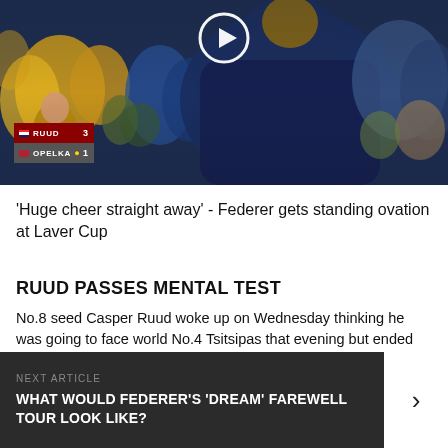[Figure (photo): A video thumbnail showing a crowd at a tennis match (Laver Cup). A person in a dark blue shirt is visible from behind/side. Scoreboard shows RUUD 3, OPELKA 1. A play button icon is visible at the top center.]
'Huge cheer straight away' - Federer gets standing ovation at Laver Cup
RUUD PASSES MENTAL TEST
No.8 seed Casper Ruud woke up on Wednesday thinking he was going to face world No.4 Tsitsipas that evening but ended up taking on second alternate Norrie, who replaced the injured Greek in the Green Group.
NEXT ARTICLE
WHAT WOULD FEDERER'S 'DREAM' FAREWELL TOUR LOOK LIKE?